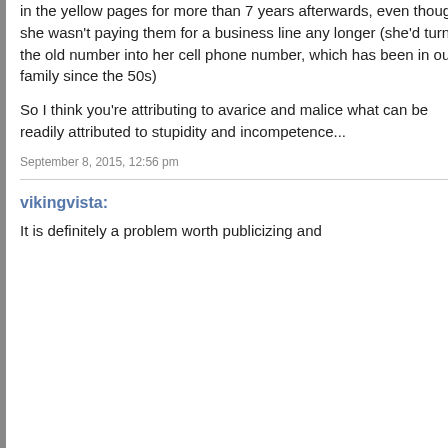in the yellow pages for more than 7 years afterwards, even though she wasn't paying them for a business line any longer (she'd turned the old number into her cell phone number, which has been in our family since the 50s)
So I think you're attributing to avarice and malice what can be readily attributed to stupidity and incompetence...
September 8, 2015, 12:56 pm
vikingvista:
It is definitely a problem worth publicizing and
February 2009
January 2009
December 2008
November 2008
October 2008
September 2008
August 2008
July 2008
June 2008
May 2008
April 2008
March 2008
February 2008
January 2008
December 2007
November 2007
October 2007
September 2007
August 2007
July 2007
June 2007